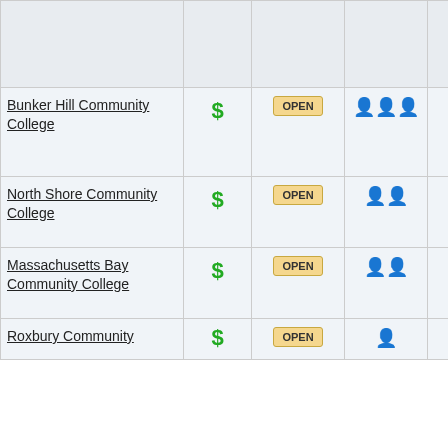| College | Cost | Status | Size | Location | Programs |
| --- | --- | --- | --- | --- | --- |
| Bunker Hill Community College | $ | OPEN | 👤👤👤 | CITY | Popu... Biolo... Biote... Math... |
| North Shore Community College | $ | OPEN | 👤👤 | SUBURBS | Popu... Biolo... Tech... |
| Massachusetts Bay Community College | $ | OPEN | 👤👤 | SUBURBS | Popu... Biote... Biolo... |
| Roxbury Community | $ | OPEN | 👤 | CITY | Popu... |